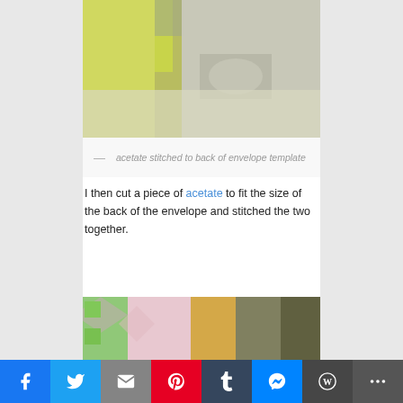[Figure (photo): Close-up photo of acetate being stitched to back of a green/yellow envelope template on a sewing machine]
— acetate stitched to back of envelope template
I then cut a piece of acetate to fit the size of the back of the envelope and stitched the two together.
[Figure (photo): Overhead photo of craft supplies including patterned paper, stamps, ink pads, butterfly cutouts, and green fabric pieces on a cutting mat]
Facebook Twitter Email Pinterest Tumblr Messenger WordPress More